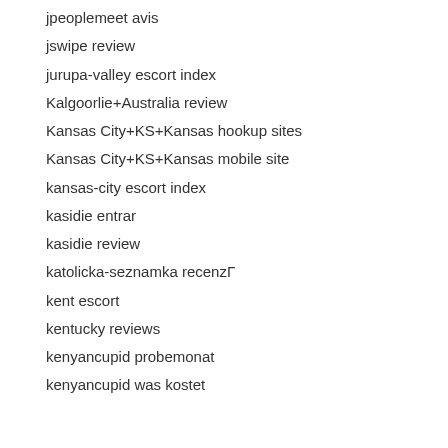jpeoplemeet avis
jswipe review
jurupa-valley escort index
Kalgoorlie+Australia review
Kansas City+KS+Kansas hookup sites
Kansas City+KS+Kansas mobile site
kansas-city escort index
kasidie entrar
kasidie review
katolicka-seznamka recenzГ
kent escort
kentucky reviews
kenyancupid probemonat
kenyancupid was kostet